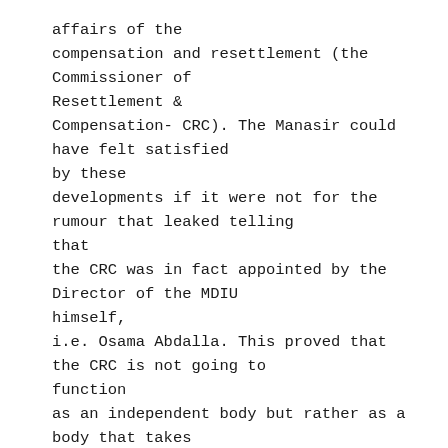affairs of the compensation and resettlement (the Commissioner of Resettlement & Compensation- CRC). The Manasir could have felt satisfied by these developments if it were not for the rumour that leaked telling that the CRC was in fact appointed by the Director of the MDIU himself, i.e. Osama Abdalla. This proved that the CRC is not going to function as an independent body but rather as a body that takes orders from the MDIU. On 28/1/2004 the Governor of the River Nile State wrote a letter  to the Director of MDIU urging him to be transparent and cooperative with the affected people and to expedite the studies related to the Local Option. He further urged him to disclose the information